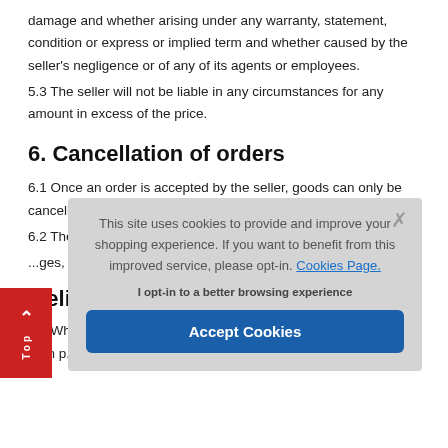damage and whether arising under any warranty, statement, condition or express or implied term and whether caused by the seller's negligence or of any of its agents or employees.
5.3 The seller will not be liable in any circumstances for any amount in excess of the price.
6. Cancellation of orders
6.1 Once an order is accepted by the seller, goods can only be cancelled by agreement...
6.2 The buyer shall in... loss of profit), costs (in... ges, charges an... ncellation.
...elivery of ...
7.1 Whilst the seller w... as reasonably practi... seller does not form p...
[Figure (screenshot): Cookie consent modal overlay with text 'This site uses cookies to provide and improve your shopping experience. If you want to benefit from this improved service, please opt-in. Cookies Page.' and an 'Accept Cookies' button, and a red 'Top' navigation tab on the left side.]